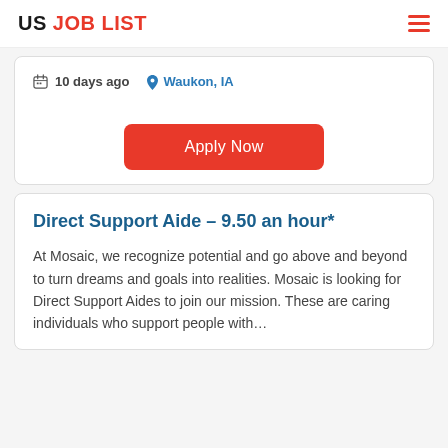US JOB LIST
10 days ago   Waukon, IA
Apply Now
Direct Support Aide – 9.50 an hour*
At Mosaic, we recognize potential and go above and beyond to turn dreams and goals into realities. Mosaic is looking for Direct Support Aides to join our mission. These are caring individuals who support people with...